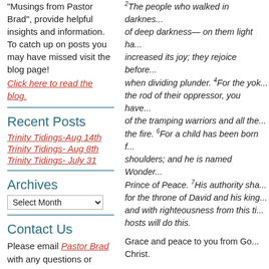"Musings from Pastor Brad", provide helpful insights and information. To catch up on posts you may have missed visit the blog page!
Click here to read the blog.
Recent Posts
Trinity Tidings-Aug 14th
Trinity Tidings- Aug 8th
Trinity Tidings- July 31
Archives
Select Month
Contact Us
Please email Pastor Brad with any questions or comments.
2 The people who walked in darkness...of deep darkness— on them light ha...increased its joy; they rejoice before...when dividing plunder. 4 For the yok...the rod of their oppressor, you have...of the tramping warriors and all the...the fire. 6 For a child has been born f...shoulders; and he is named Wonder...Prince of Peace. 7 His authority sha...for the throne of David and his king...and with righteousness from this ti...hosts will do this.
Grace and peace to you from Go...Christ.
I know that many of you, right n...prophet Isaiah that we normally...Already you walk into almost ev...and Thanksgiving is still 11 days...seems way too early and out of p...
Well, we are in the midst of goin...Lectionary, and this is our next f...